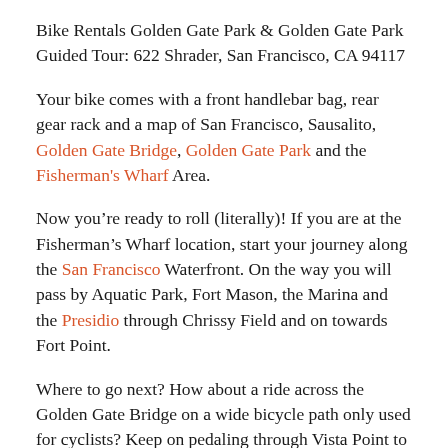Bike Rentals Golden Gate Park & Golden Gate Park Guided Tour: 622 Shrader, San Francisco, CA 94117
Your bike comes with a front handlebar bag, rear gear rack and a map of San Francisco, Sausalito, Golden Gate Bridge, Golden Gate Park and the Fisherman's Wharf Area.
Now you're ready to roll (literally)! If you are at the Fisherman's Wharf location, start your journey along the San Francisco Waterfront. On the way you will pass by Aquatic Park, Fort Mason, the Marina and the Presidio through Chrissy Field and on towards Fort Point.
Where to go next? How about a ride across the Golden Gate Bridge on a wide bicycle path only used for cyclists? Keep on pedaling through Vista Point to Old Fort Baker you will end up at in beautiful, bike-friendly Sausalito. In Sausalito, enjoy the local shops, delicious restaurants and a variety of art galleries this quaint little town has to